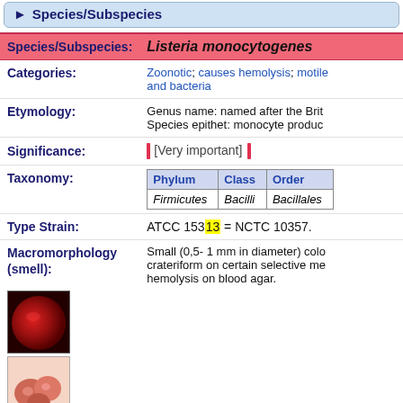Species/Subspecies
Species/Subspecies: Listeria monocytogenes
Categories: Zoonotic; causes hemolysis; motile and bacteria
Etymology: Genus name: named after the Brit... Species epithet: monocyte produc...
Significance: [Very important]
| Phylum | Class | Order |
| --- | --- | --- |
| Firmicutes | Bacilli | Bacillales |
Type Strain: ATCC 15313 = NCTC 10357.
Macromorphology (smell): Small (0,5- 1 mm in diameter) colo... crateriform on certain selective me... hemolysis on blood agar.
[Figure (photo): Red circular colony on agar plate]
[Figure (photo): Pink/red bacterial colonies on selective agar]